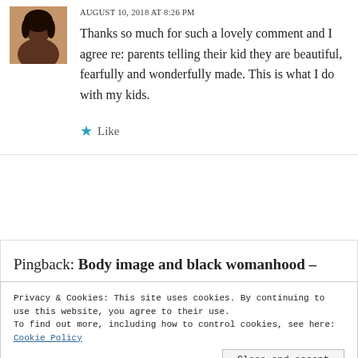AUGUST 10, 2018 AT 8:26 PM
Thanks so much for such a lovely comment and I agree re: parents telling their kid they are beautiful, fearfully and wonderfully made. This is what I do with my kids.
★ Like
Pingback: Body image and black womanhood –
Privacy & Cookies: This site uses cookies. By continuing to use this website, you agree to their use.
To find out more, including how to control cookies, see here: Cookie Policy
Close and accept
REPLY